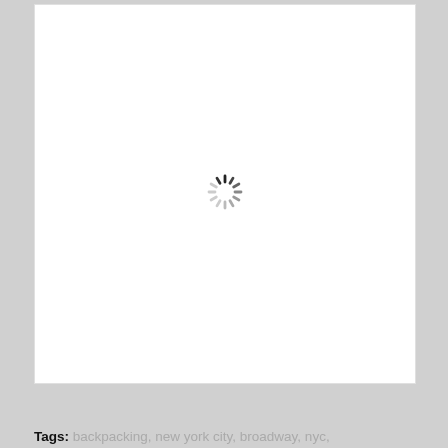[Figure (other): Loading spinner (animated loading indicator) centered in a white rectangular image placeholder box]
Tags: backpacking, new york city, broadway, nyc,